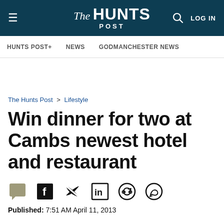The Hunts Post — LOG IN
HUNTS POST+   NEWS   GODMANCHESTER NEWS
The Hunts Post > Lifestyle
Win dinner for two at Cambs newest hotel and restaurant
Published: 7:51 AM April 11, 2013